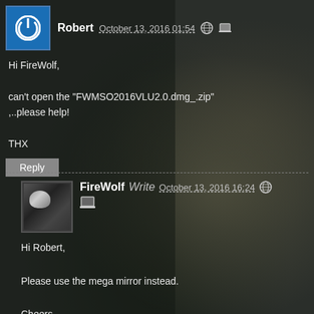Robert  October 13, 2016 01:54
Hi FireWolf,

can't open the "FWMSO2016VLU2.0.dmg_.zip"
,..please help!

THX
Reply
FireWolf  Write  October 13, 2016 16:24
Hi Robert,

Please use the mega mirror instead.

Cheers,
FireWolf
Reply